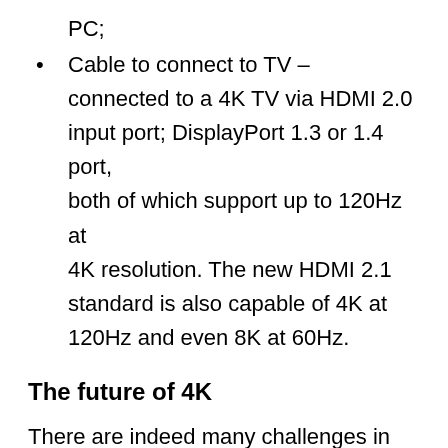PC;
Cable to connect to TV – connected to a 4K TV via HDMI 2.0 input port; DisplayPort 1.3 or 1.4 port, both of which support up to 120Hz at 4K resolution. The new HDMI 2.1 standard is also capable of 4K at 120Hz and even 8K at 60Hz.
The future of 4K
There are indeed many challenges in creating, distributing, and watching 4K content. The good news is that there is a cure for each of them. 4K content has